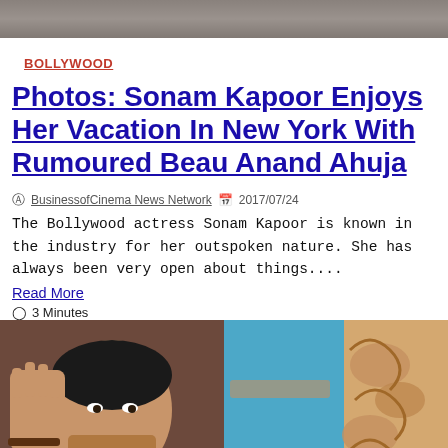[Figure (photo): Top partial image cropped at top of page]
BOLLYWOOD
Photos: Sonam Kapoor Enjoys Her Vacation In New York With Rumoured Beau Anand Ahuja
BusinessofCinema News Network  2017/07/24
The Bollywood actress Sonam Kapoor is known in the industry for her outspoken nature. She has always been very open about things....
Read More
3 Minutes
[Figure (photo): Bottom two photos: left shows a man raising his hand, right shows decorative blue and wooden architectural detail]